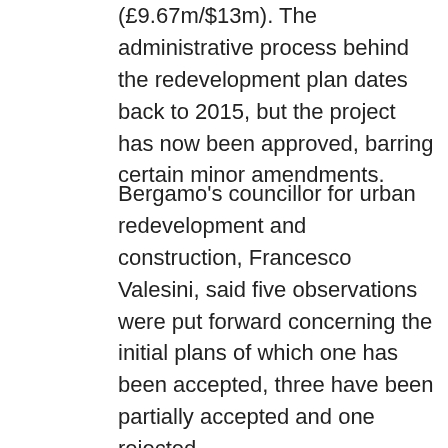(£9.67m/$13m). The administrative process behind the redevelopment plan dates back to 2015, but the project has now been approved, barring certain minor amendments.
Bergamo's councillor for urban redevelopment and construction, Francesco Valesini, said five observations were put forward concerning the initial plans of which one has been accepted, three have been partially accepted and one rejected. The one to be rejected concerned reducing the height of the redeveloped north and south stands. It was claimed that this would impact on the local areas of Alta and Martesana, but it was argued that reducing the height would have necessitated removing rows of seats, affecting the minimal capacity requirement for the stadium.